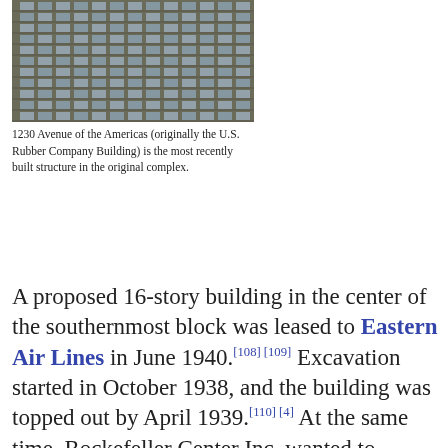[Figure (photo): Looking up at a tall skyscraper facade with Art Deco window grid pattern, 1230 Avenue of the Americas (originally the U.S. Rubber Company Building)]
1230 Avenue of the Americas (originally the U.S. Rubber Company Building) is the most recently built structure in the original complex.
A proposed 16-story building in the center of the southernmost block was leased to Eastern Air Lines in June 1940.[108][109] Excavation started in October 1938, and the building was topped out by April 1939.[110][4] At the same time, Rockefeller Center Inc. wanted to develop the western half of the southern plot, which was partially occupied by the Center Theatre.[111][112] The United States Rubber Company agreed to occupy the plot.[113] and excavation of the U.S. Rubber Company Building site commenced in May 1939.[114] John Rockefeller installed the building's ceremonial final rivet